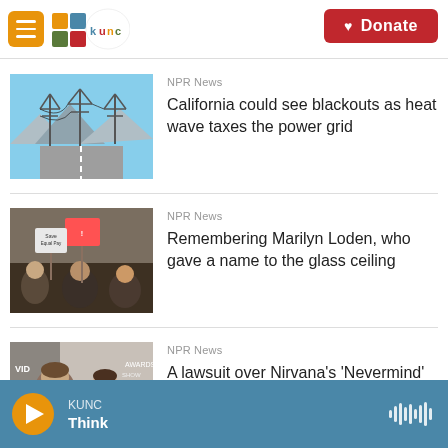KUNC - Donate
[Figure (screenshot): KUNC radio station logo with colorful squares and circular design]
[Figure (photo): Electrical power transmission towers against a blue sky with mountains in background]
NPR News
California could see blackouts as heat wave taxes the power grid
[Figure (photo): Protest crowd holding signs about pay equity and workplace issues]
NPR News
Remembering Marilyn Loden, who gave a name to the glass ceiling
[Figure (photo): Two people at an event, partial image at bottom of page]
NPR News
A lawsuit over Nirvana's 'Nevermind'
KUNC Think